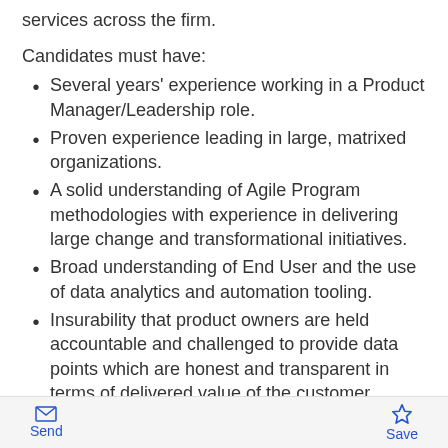services across the firm.
Candidates must have:
Several years' experience working in a Product Manager/Leadership role.
Proven experience leading in large, matrixed organizations.
A solid understanding of Agile Program methodologies with experience in delivering large change and transformational initiatives.
Broad understanding of End User and the use of data analytics and automation tooling.
Insurability that product owners are held accountable and challenged to provide data points which are honest and transparent in terms of delivered value of the customer objectives.
Send  Save